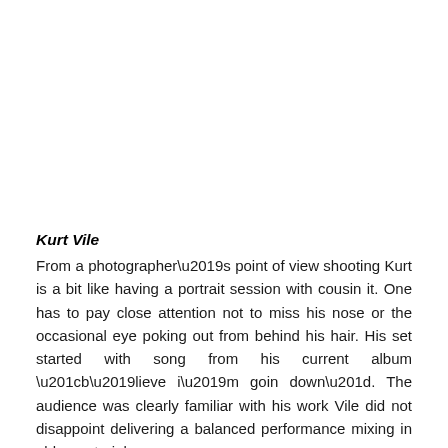Kurt Vile
From a photographer's point of view shooting Kurt is a bit like having a portrait session with cousin it. One has to pay close attention not to miss his nose or the occasional eye poking out from behind his hair. His set started with song from his current album “b'lieve i’m goin down”. The audience was clearly familiar with his work Vile did not disappoint delivering a balanced performance mixing in older material.
Set List:
Dust Bunnies
Pretty Pimpin’
Jesus Fever